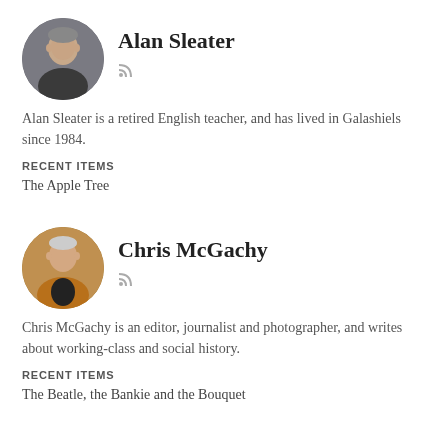[Figure (photo): Circular portrait photo of Alan Sleater, an older man]
Alan Sleater
Alan Sleater is a retired English teacher, and has lived in Galashiels since 1984.
RECENT ITEMS
The Apple Tree
[Figure (photo): Circular portrait photo of Chris McGachy, a man in a jacket]
Chris McGachy
Chris McGachy is an editor, journalist and photographer, and writes about working-class and social history.
RECENT ITEMS
The Beatle, the Bankie and the Bouquet